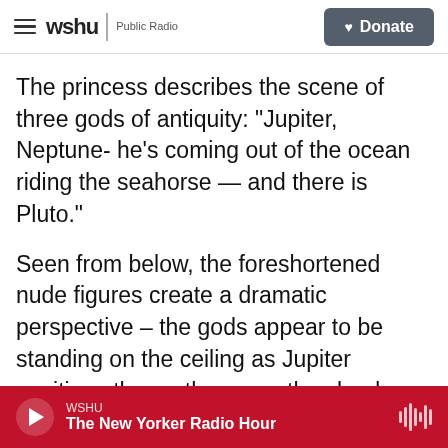wshu | Public Radio   Donate
The princess describes the scene of three gods of antiquity: "Jupiter, Neptune- he's coming out of the ocean riding the seahorse — and there is Pluto."
Seen from below, the foreshortened nude figures create a dramatic perspective – the gods appear to be standing on the ceiling as Jupiter positions the earth among the clouds. For Princess Rita, it's the perfect place for meditation.
" I have in the past put my yoga mat here, and do my yoga beneath it. Because you discover different things all the time. Oh, it's wonderful, it's wonderful."
WSHU
The New Yorker Radio Hour